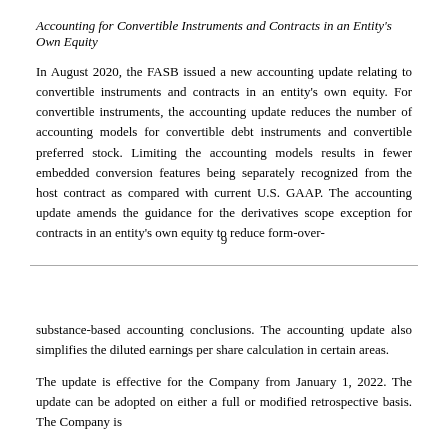Accounting for Convertible Instruments and Contracts in an Entity's Own Equity
In August 2020, the FASB issued a new accounting update relating to convertible instruments and contracts in an entity's own equity. For convertible instruments, the accounting update reduces the number of accounting models for convertible debt instruments and convertible preferred stock. Limiting the accounting models results in fewer embedded conversion features being separately recognized from the host contract as compared with current U.S. GAAP. The accounting update amends the guidance for the derivatives scope exception for contracts in an entity's own equity to reduce form-over-
9
substance-based accounting conclusions. The accounting update also simplifies the diluted earnings per share calculation in certain areas.
The update is effective for the Company from January 1, 2022. The update can be adopted on either a full or modified retrospective basis. The Company is